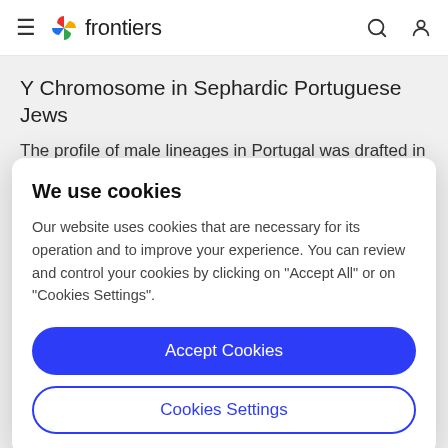frontiers
Y Chromosome in Sephardic Portuguese Jews
The profile of male lineages in Portugal was drafted in a study comprising 663 male samples from the 18
We use cookies
Our website uses cookies that are necessary for its operation and to improve your experience. You can review and control your cookies by clicking on "Accept All" or on "Cookies Settings".
Accept Cookies
Cookies Settings